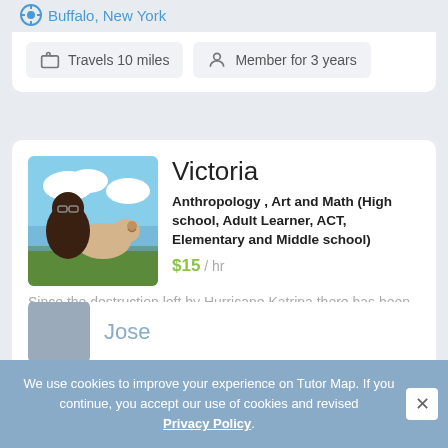Buffalo, New York
Travels 10 miles
Member for 3 years
Victoria
Anthropology , Art and Math (High school, Adult Learner, ACT, Elementary and Middle school)
$15 / hr
Since the destruction left by Hurricane Katrina there has been a need for change in New Orleansâ€™ school system. I have been apart of Kids Rethink 🐕...
Louisiana
Travels 50 miles
Member for 3 years
We use cookies to improve your experience on Tutor Map. If you continue, you accept our use of cookies and revised Privacy Policy.
Jose